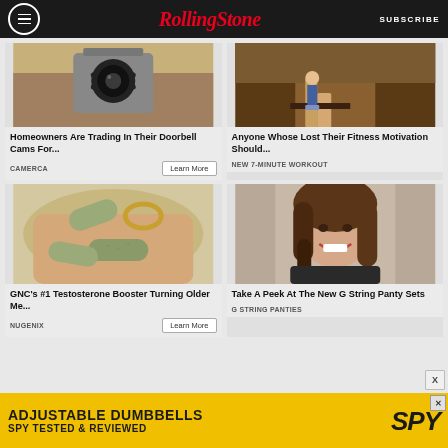Rolling Stone | SUBSCRIBE
[Figure (screenshot): Doorbell camera close-up image]
Homeowners Are Trading In Their Doorbell Cams For...
CAMERCA
[Figure (screenshot): Person running/fitness image]
Anyone Whose Lost Their Fitness Motivation Should...
NEW 7-MINUTE WORKOUT
[Figure (screenshot): Green supplement pills/capsules in hand]
GNC's #1 Testosterone Booster Turning Older Me...
NUGENIX
[Figure (screenshot): Smiling woman with brown hair]
Take A Peek At The New G String Panty Sets
G STRING PANTIES
ADJUSTABLE DUMBBELLS SPY TESTED & REVIEWED